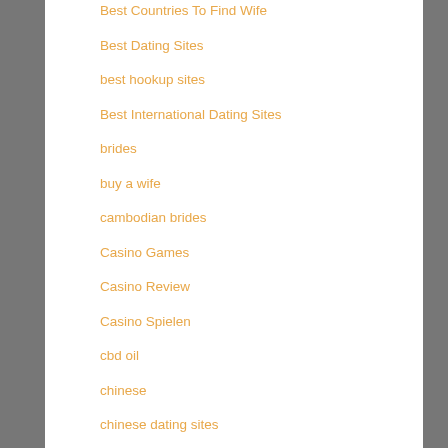Best Countries To Find Wife
Best Dating Sites
best hookup sites
Best International Dating Sites
brides
buy a wife
cambodian brides
Casino Games
Casino Review
Casino Spielen
cbd oil
chinese
chinese dating sites
chinese mail order brides
Crypto Casino